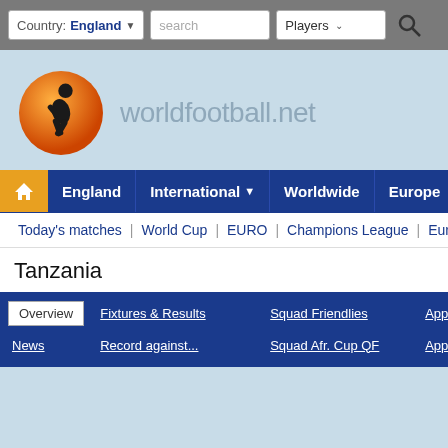Country: England | search | Players
[Figure (logo): worldfootball.net logo with orange soccer player icon]
worldfootball.net
Home | England | International | Worldwide | Europe | South America
Today's matches | World Cup | EURO | Champions League | Europa League
Tanzania
Overview | Fixtures & Results | Squad Friendlies | Appearances
News | Record against... | Squad Afr. Cup QF | Appearances